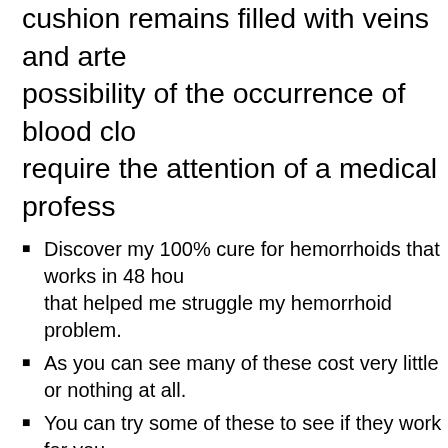cushion remains filled with veins and arteries, possibility of the occurrence of blood clots require the attention of a medical profess...
Discover my 100% cure for hemorrhoids that works in 48 hours that helped me struggle my hemorrhoid problem.
As you can see many of these cost very little or nothing at all.
You can try some of these to see if they work for you.
Other conditions such as anal fissures in wrongly associated with hemorrhoids. Bleeding a result of this condition and treatment should that condition. Everybody knows that stress is a cause for several health problems. Thus...